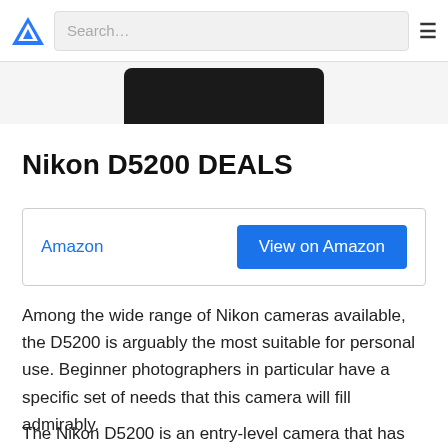Search…
[Figure (photo): Partial view of a Nikon D5200 camera body, black, shown from top/front angle, cropped at top of page]
Nikon D5200 DEALS
| Amazon | View on Amazon |
Among the wide range of Nikon cameras available, the D5200 is arguably the most suitable for personal use. Beginner photographers in particular have a specific set of needs that this camera will fill admirably.
The Nikon D5200 is an entry-level camera that has